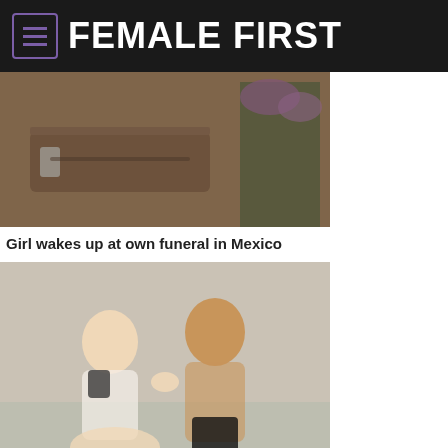FEMALE FIRST
[Figure (photo): A wooden coffin with a metal handle and purple flowers, photographed up close]
Girl wakes up at own funeral in Mexico
[Figure (photo): A young woman in a black bralette and a shirtless young man sitting together on a bed or couch]